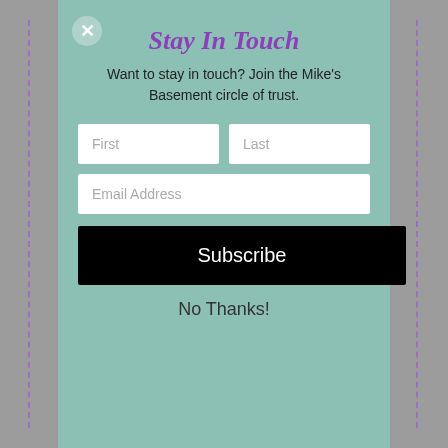Stay In Touch
Want to stay in touch? Join the Mike's Basement circle of trust.
[Figure (screenshot): Email subscription form with First, Last, and Email Address input fields, a black Subscribe button, and a No Thanks! link]
No Thanks!